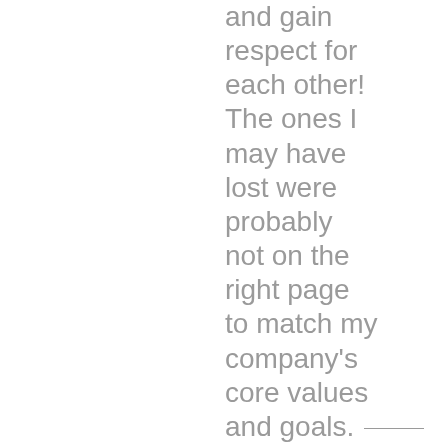and gain respect for each other! The ones I may have lost were probably not on the right page to match my company's core values and goals. — Makes more ^ room for — the right ones.